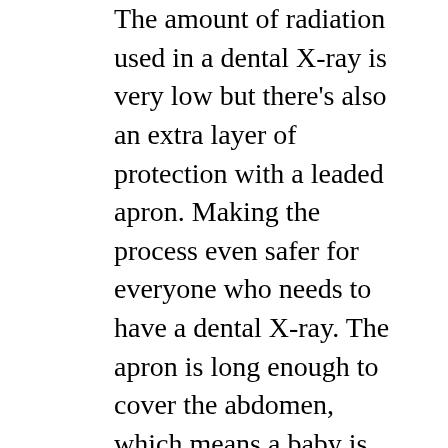The amount of radiation used in a dental X-ray is very low but there’s also an extra layer of protection with a leaded apron. Making the process even safer for everyone who needs to have a dental X-ray. The apron is long enough to cover the abdomen, which means a baby is protected during the X-ray process.
Even though the dental X-ray process is safe to undertake throughout pregnancy, some women make proactive choices to limit their exposure to X-rays and other procedures during this time.
Some women choose to postpone X-rays until after the end of the first trimester. Others postpone routine dental X-rays until